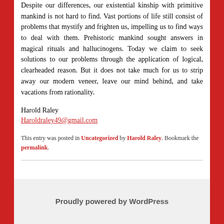Despite our differences, our existential kinship with primitive mankind is not hard to find. Vast portions of life still consist of problems that mystify and frighten us, impelling us to find ways to deal with them. Prehistoric mankind sought answers in magical rituals and hallucinogens. Today we claim to seek solutions to our problems through the application of logical, clearheaded reason. But it does not take much for us to strip away our modern veneer, leave our mind behind, and take vacations from rationality.
Harold Raley
Haroldraley49@gmail.com
This entry was posted in Uncategorized by Harold Raley. Bookmark the permalink.
Proudly powered by WordPress